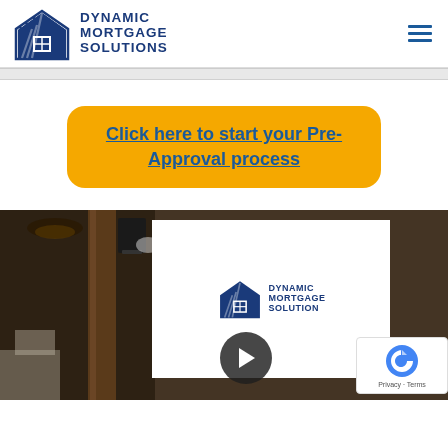Dynamic Mortgage Solutions
[Figure (logo): Dynamic Mortgage Solutions logo with house icon and blue text]
Click here to start your Pre-Approval process
[Figure (screenshot): Video thumbnail showing interior room with Dynamic Mortgage Solutions logo overlay and play button, with reCAPTCHA badge]